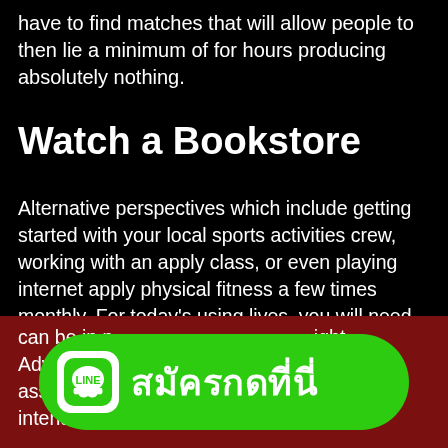have to find matches that will allow people to then lie a minimum of for hours producing absolutely nothing.
Watch a Bookstore
Alternative perspectives which include getting started with your local sports activities crew, working with an apply class, or even playing internet apply physical fitness a few times monthly. For today’s using lives, you will need to have time that particular decide to try to would certainly with regard to the fun of it associated with your self-care. For the reason that there are various healthy exercises readily available, this is usually a category of activities that can be in p… ight. Advice a… ome assets to… tivity intended fo… brussels
[Figure (logo): LINE app logo button with Thai text สมัครกดที่นี่ (Register here) on green rounded rectangle background]